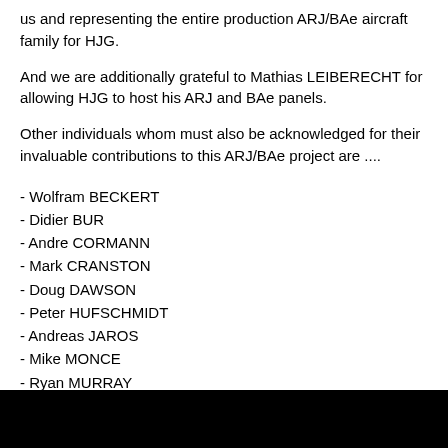us and representing the entire production ARJ/BAe aircraft family for HJG.
And we are additionally grateful to Mathias LEIBERECHT for allowing HJG to host his ARJ and BAe panels.
Other individuals whom must also be acknowledged for their invaluable contributions to this ARJ/BAe project are ....
- Wolfram BECKERT
- Didier BUR
- Andre CORMANN
- Mark CRANSTON
- Doug DAWSON
- Peter HUFSCHMIDT
- Andreas JAROS
- Mike MONCE
- Ryan MURRAY
- Benoit PLAMONDON
- Konstantin PROKPOPIU
- Jacek SIMON
- Darren TAYLOR
- Wilco VAN DEIJL
- Bob WARD